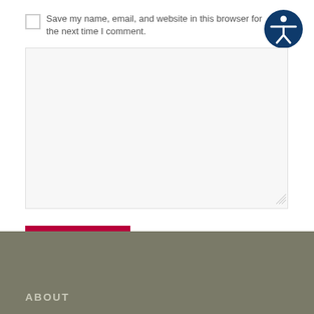Save my name, email, and website in this browser for the next time I comment.
[Figure (illustration): Accessibility icon — white figure with outstretched arms inside a dark blue circle]
[Figure (screenshot): Large text input textarea with light gray background and resize handle at bottom right]
Post Comment
ABOUT